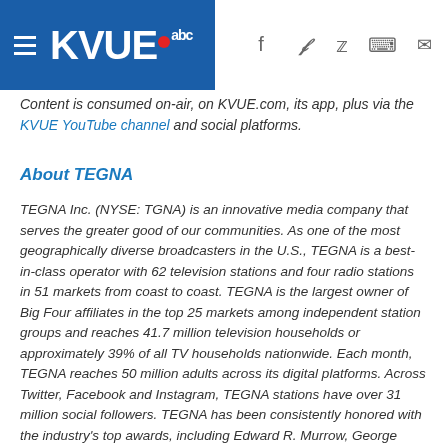KVUE abc — navigation header with social/share icons
Content is consumed on-air, on KVUE.com, its app, plus via the KVUE YouTube channel and social platforms.
About TEGNA
TEGNA Inc. (NYSE: TGNA) is an innovative media company that serves the greater good of our communities. As one of the most geographically diverse broadcasters in the U.S., TEGNA is a best-in-class operator with 62 television stations and four radio stations in 51 markets from coast to coast. TEGNA is the largest owner of Big Four affiliates in the top 25 markets among independent station groups and reaches 41.7 million television households or approximately 39% of all TV households nationwide. Each month, TEGNA reaches 50 million adults across its digital platforms. Across Twitter, Facebook and Instagram, TEGNA stations have over 31 million social followers. TEGNA has been consistently honored with the industry's top awards, including Edward R. Murrow, George Polk, Alfred I. DuPont